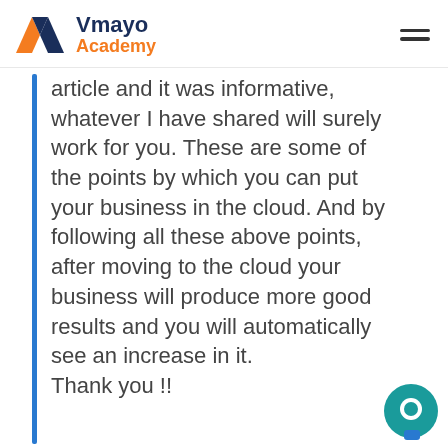Vmayo Academy
article and it was informative, whatever I have shared will surely work for you. These are some of the points by which you can put your business in the cloud. And by following all these above points, after moving to the cloud your business will produce more good results and you will automatically see an increase in it.
Thank you !!